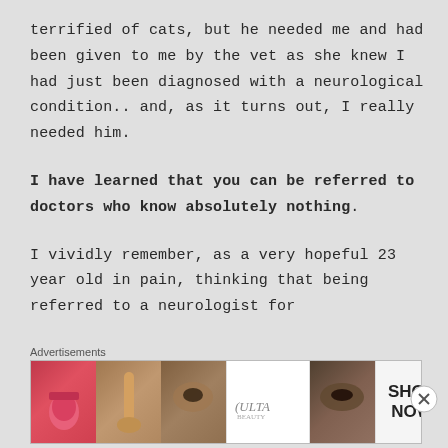terrified of cats, but he needed me and had been given to me by the vet as she knew I had just been diagnosed with a neurological condition.. and, as it turns out, I really needed him.
I have learned that you can be referred to doctors who know absolutely nothing.
I vividly remember, as a very hopeful 23 year old in pain, thinking that being referred to a neurologist for
Advertisements
[Figure (photo): Advertisement banner showing beauty/makeup images with Ulta logo and Shop Now button]